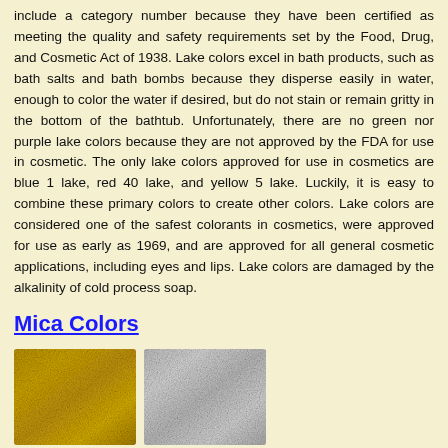include a category number because they have been certified as meeting the quality and safety requirements set by the Food, Drug, and Cosmetic Act of 1938. Lake colors excel in bath products, such as bath salts and bath bombs because they disperse easily in water, enough to color the water if desired, but do not stain or remain gritty in the bottom of the bathtub. Unfortunately, there are no green nor purple lake colors because they are not approved by the FDA for use in cosmetic. The only lake colors approved for use in cosmetics are blue 1 lake, red 40 lake, and yellow 5 lake. Luckily, it is easy to combine these primary colors to create other colors. Lake colors are considered one of the safest colorants in cosmetics, were approved for use as early as 1969, and are approved for all general cosmetic applications, including eyes and lips. Lake colors are damaged by the alkalinity of cold process soap.
Mica Colors
[Figure (photo): Two patches of mica powder: a golden-yellow mica on the left and a silver-white mica on the right.]
Mica colors are powdered pigments derived from natural minerals that are used in cosmetics and other products.